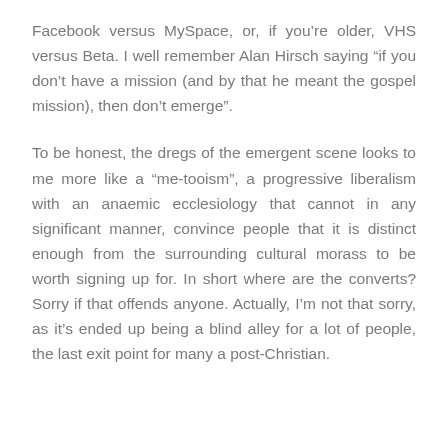Facebook versus MySpace, or, if you’re older, VHS versus Beta. I well remember Alan Hirsch saying “if you don’t have a mission (and by that he meant the gospel mission), then don’t emerge”.
To be honest, the dregs of the emergent scene looks to me more like a “me-tooism”, a progressive liberalism with an anaemic ecclesiology that cannot in any significant manner, convince people that it is distinct enough from the surrounding cultural morass to be worth signing up for. In short where are the converts? Sorry if that offends anyone. Actually, I’m not that sorry, as it’s ended up being a blind alley for a lot of people, the last exit point for many a post-Christian.